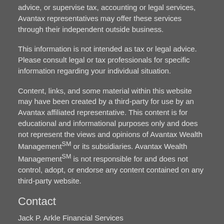advice, or supervise tax, accounting or legal services, Avantax representatives may offer these services through their independent outside business.
This information is not intended as tax or legal advice. Please consult legal or tax professionals for specific information regarding your individual situation.
Content, links, and some material within this website may have been created by a third-party for use by an Avantax affiliated representative. This content is for educational and informational purposes only and does not represent the views and opinions of Avantax Wealth ManagementSM or its subsidiaries. Avantax Wealth ManagementSM is not responsible for and does not control, adopt, or endorse any content contained on any third-party website.
Contact
Jack P. Arkle Financial Services
Office:    (513) 574-9502
Mobile:  513-382-9048